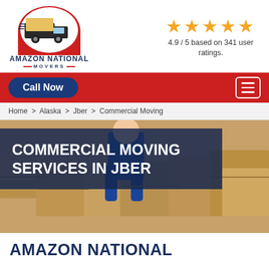[Figure (logo): Amazon National Movers logo with red/black truck and red semi-circle]
4.9 / 5 based on 341 user ratings.
Call Now
Home > Alaska > Jber > Commercial Moving
[Figure (photo): Moving crew member in blue uniform surrounded by cardboard boxes]
COMMERCIAL MOVING SERVICES IN JBER
AMAZON NATIONAL